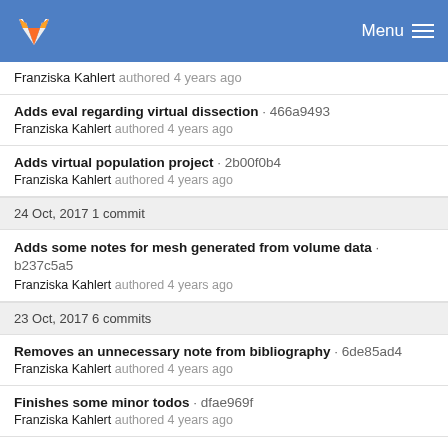Menu
Franziska Kahlert authored 4 years ago
Adds eval regarding virtual dissection · 466a9493
Franziska Kahlert authored 4 years ago
Adds virtual population project · 2b00f0b4
Franziska Kahlert authored 4 years ago
24 Oct, 2017 1 commit
Adds some notes for mesh generated from volume data · b237c5a5
Franziska Kahlert authored 4 years ago
23 Oct, 2017 6 commits
Removes an unnecessary note from bibliography · 6de85ad4
Franziska Kahlert authored 4 years ago
Finishes some minor todos · dfae969f
Franziska Kahlert authored 4 years ago